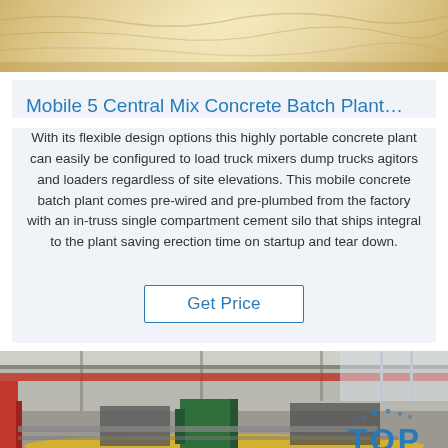[Figure (photo): Top banner image showing sandy/cream colored concrete or material texture]
Mobile 5 Central Mix Concrete Batch Plant…
With its flexible design options this highly portable concrete plant can easily be configured to load truck mixers dump trucks agitors and loaders regardless of site elevations. This mobile concrete batch plant comes pre-wired and pre-plumbed from the factory with an in-truss single compartment cement silo that ships integral to the plant saving erection time on startup and tear down.
Get Price
[Figure (photo): Bottom image showing a factory/warehouse interior with industrial equipment, yellow machinery, overhead cranes. TOP logo overlay visible in blue on right side.]